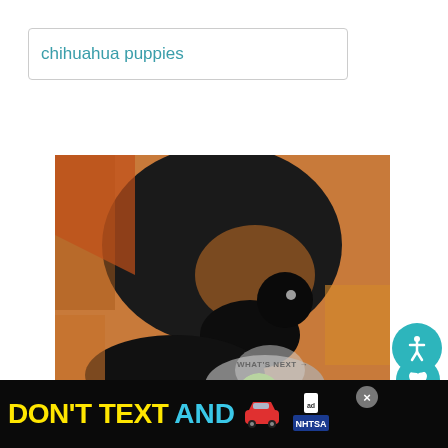chihuahua puppies
[Figure (photo): Black and tan chihuahua puppy with another puppy, close-up photo on warm wood background]
2.2K
WHAT'S NEXT → How Long Should You...
[Figure (infographic): DON'T TEXT AND [car emoji] advertisement banner — NHTSA ad with yellow and cyan text on black background]